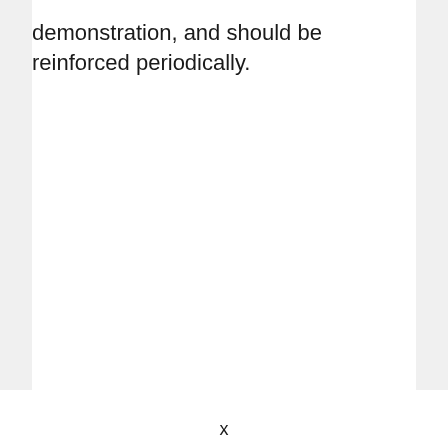demonstration, and should be reinforced periodically.
x